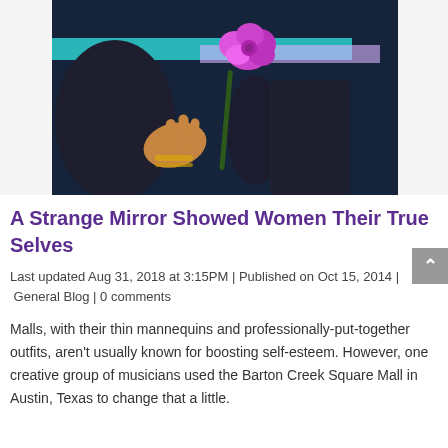[Figure (photo): A close-up photo of two people's hands. One person holds a purple/magenta flower (carnation-like). There are teal and light purple horizontal streaks in the background. The setting appears dark/blue-toned.]
A Strange Mirror Showed Women Their True Selves
Last updated Aug 31, 2018 at 3:15PM | Published on Oct 15, 2014 | General Blog | 0 comments
Malls, with their thin mannequins and professionally-put-together outfits, aren't usually known for boosting self-esteem. However, one creative group of musicians used the Barton Creek Square Mall in Austin, Texas to change that a little.